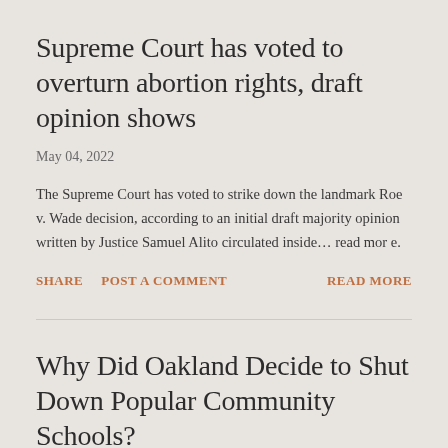Supreme Court has voted to overturn abortion rights, draft opinion shows
May 04, 2022
The Supreme Court has voted to strike down the landmark Roe v. Wade decision, according to an initial draft majority opinion written by Justice Samuel Alito circulated inside… read mor e.
SHARE   POST A COMMENT   READ MORE
Why Did Oakland Decide to Shut Down Popular Community Schools?
May 03, 2022